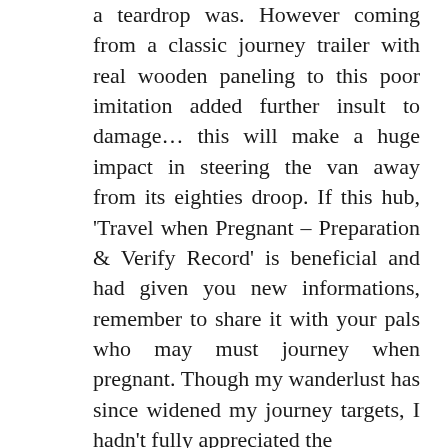a teardrop was. However coming from a classic journey trailer with real wooden paneling to this poor imitation added further insult to damage… this will make a huge impact in steering the van away from its eighties droop. If this hub, 'Travel when Pregnant – Preparation & Verify Record' is beneficial and had given you new informations, remember to share it with your pals who may must journey when pregnant. Though my wanderlust has since widened my journey targets, I hadn't fully appreciated the